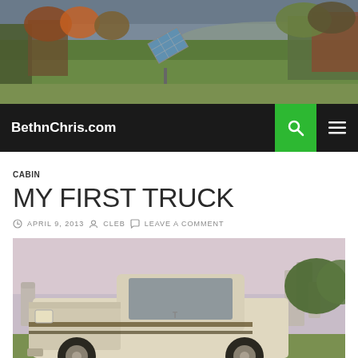[Figure (photo): Header landscape photo showing a green field with a solar panel, surrounded by autumn trees with mountains in the background under a cloudy sky]
BethnChris.com
CABIN
MY FIRST TRUCK
APRIL 9, 2013  CLEB  LEAVE A COMMENT
[Figure (photo): An old, rusty white pickup truck (appears to be a Toyota) parked in what looks like a cemetery or rural area with gravestones and trees visible in the background]